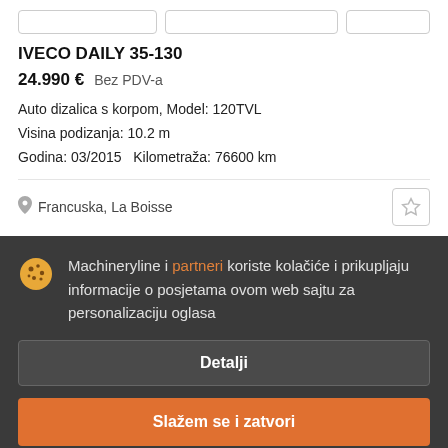IVECO DAILY 35-130
24.990 €  Bez PDV-a
Auto dizalica s korpom, Model: 120TVL
Visina podizanja: 10.2 m
Godina: 03/2015   Kilometraža: 76600 km
Francuska, La Boisse
Machineryline i partneri koriste kolačiće i prikupljaju informacije o posjetama ovom web sajtu za personalizaciju oglasa
Detalji
Slažem se i zatvori
IVECO Eurocargo 120L24
cijena na upit